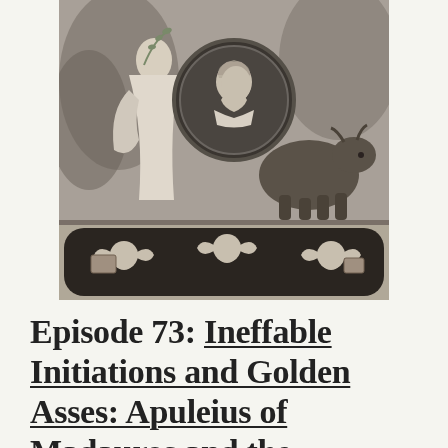[Figure (illustration): A classical engraving showing a robed female figure (possibly Isis or a goddess) with long wavy hair holding an olive branch, a medallion portrait in the center, a bull or ox reclining, and cherubs/putti at the bottom. Rendered in black and white/grayscale.]
Episode 73: Ineffable Initiations and Golden Asses: Apuleius of Madauros and the